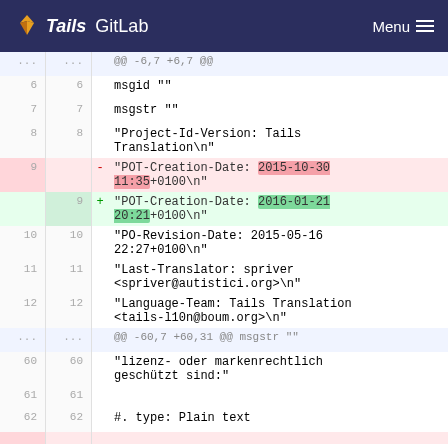Tails GitLab  Menu
... ... @@ -6,7 +6,7 @@
6 6 msgid ""
7 7 msgstr ""
8 8 "Project-Id-Version: Tails Translation\n"
9 - "POT-Creation-Date: 2015-10-30 11:35+0100\n"
9 + "POT-Creation-Date: 2016-01-21 20:21+0100\n"
10 10 "PO-Revision-Date: 2015-05-16 22:27+0100\n"
11 11 "Last-Translator: spriver <spriver@autistici.org>\n"
12 12 "Language-Team: Tails Translation <tails-l10n@boum.org>\n"
... ... @@ -60,7 +60,31 @@ msgstr ""
60 60 "lizenz- oder markenrechtlich geschützt sind:"
61 61
62 62 #. type: Plain text